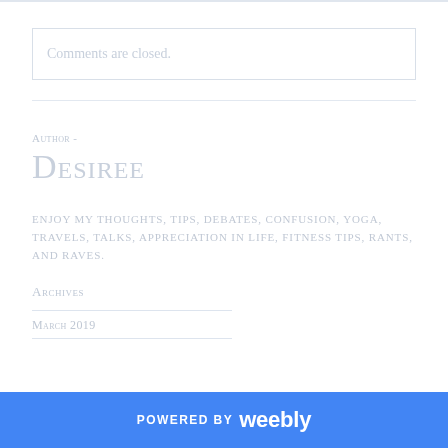Comments are closed.
Author -
Desiree
Enjoy my thoughts, tips, debates, confusion, yoga, travels, talks, appreciation in life, fitness tips, rants, and raves.
Archives
March 2019
POWERED BY weebly